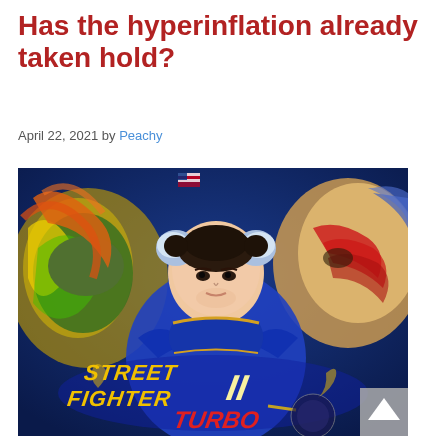Has the hyperinflation already taken hold?
April 22, 2021 by Peachy
[Figure (illustration): Street Fighter II Turbo video game cover art featuring Chun-Li in the center, Blanka on the left with green energy, and Vega/Balrog on the right, with the Street Fighter II Turbo logo at the bottom]